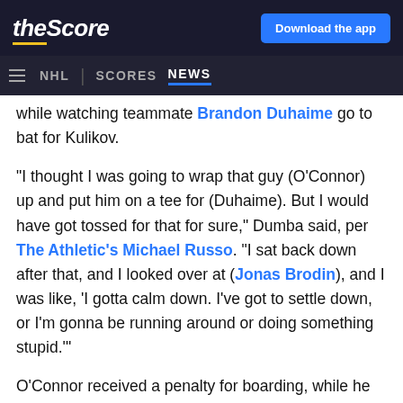theScore | Download the app
NHL | SCORES NEWS
...while watching teammate Brandon Duhaime go to bat for Kulikov.
"I thought I was going to wrap that guy (O'Connor) up and put him on a tee for (Duhaime). But I would have got tossed for that for sure," Dumba said, per The Athletic's Michael Russo. "I sat back down after that, and I looked over at (Jonas Brodin), and I was like, 'I gotta calm down. I've got to settle down, or I'm gonna be running around or doing something stupid.'"
O'Connor received a penalty for boarding, while he and Duhaime were both penalized for the fight. Duhaime was also handed an instigating minor and a 10-minute misconduct.